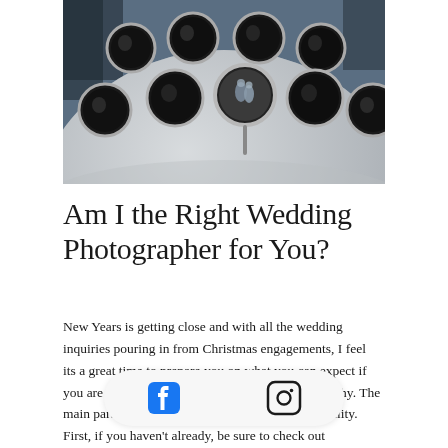[Figure (photo): A futuristic spherical dome structure with circular porthole windows, resembling a sci-fi building. A couple can be seen through one of the center portholes. Trees are visible in the background against a blue-grey sky.]
Am I the Right Wedding Photographer for You?
New Years is getting close and with all the wedding inquiries pouring in from Christmas engagements, I feel its a great time to prepare you on what you can expect if you are looking to book Arrow Sherman Photography. The main parts to focus on are style, price, and personality. First, if you haven't already, be sure to check out about my wo... take a minute to be able to explain to yourself